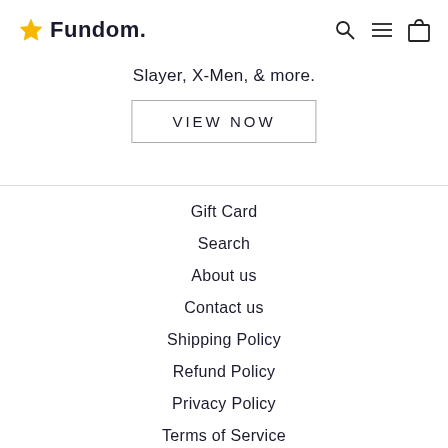Fundom
Slayer, X-Men, & more.
VIEW NOW
Gift Card
Search
About us
Contact us
Shipping Policy
Refund Policy
Privacy Policy
Terms of Service